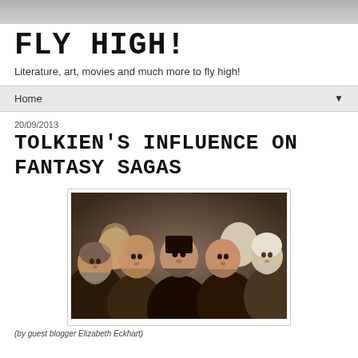[Figure (photo): Blog header banner image — grey gradient banner at top of page]
FLY HIGH!
Literature, art, movies and much more to fly high!
Home ▼
20/09/2013
TOLKIEN'S INFLUENCE ON FANTASY SAGAS
[Figure (photo): Group photo of dwarf characters from The Hobbit movie adaptation]
(by guest blogger Elizabeth Eckhart)